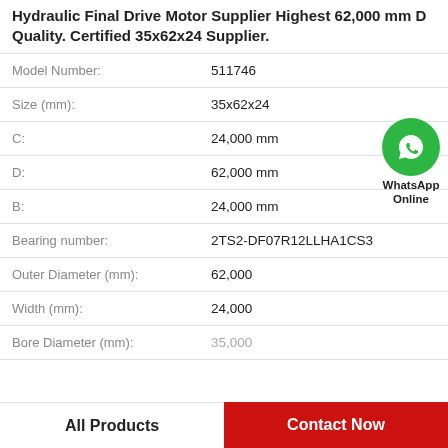Hydraulic Final Drive Motor Supplier Highest 62,000 mm D Quality. Certified 35x62x24 Supplier.
| Property | Value |
| --- | --- |
| Model Number: | 511746 |
| Size (mm): | 35x62x24 |
| C: | 24,000 mm |
| D: | 62,000 mm |
| B: | 24,000 mm |
| Bearing number: | 2TS2-DF07R12LLHA1CS3 |
| Outer Diameter (mm): | 62,000 |
| Width (mm): | 24,000 |
| Bore Diameter (mm): | 35,000 |